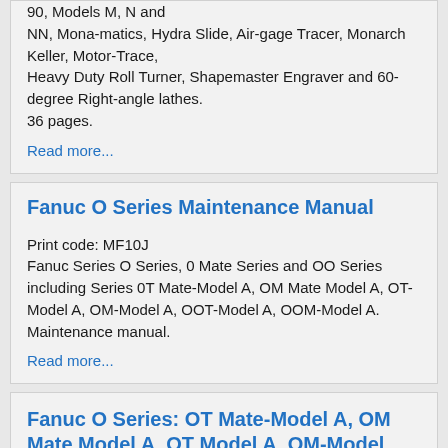90, Models M, N and NN, Mona-matics, Hydra Slide, Air-gage Tracer, Monarch Keller, Motor-Trace, Heavy Duty Roll Turner, Shapemaster Engraver and 60-degree Right-angle lathes. 36 pages.
Read more...
Fanuc O Series Maintenance Manual
Print code: MF10J
Fanuc Series O Series, 0 Mate Series and OO Series including Series 0T Mate-Model A, OM Mate Model A, OT-Model A, OM-Model A, OOT-Model A, OOM-Model A. Maintenance manual.
Read more...
Fanuc O Series: OT Mate-Model A, OM Mate Model A, OT Model A, OM-Model